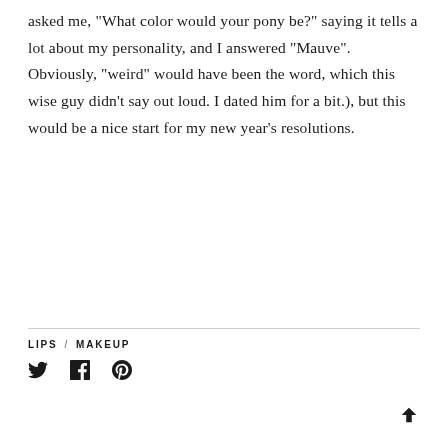asked me, "What color would your pony be?" saying it tells a lot about my personality, and I answered "Mauve". Obviously, "weird" would have been the word, which this wise guy didn't say out loud. I dated him for a bit.), but this would be a nice start for my new year's resolutions.
LIPS / MAKEUP